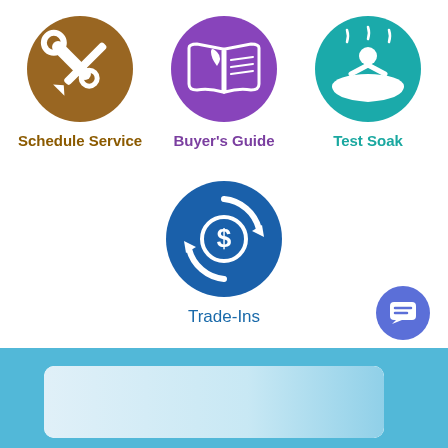[Figure (infographic): Brown circle icon with crossed wrench and screwdriver tools]
Schedule Service
[Figure (infographic): Purple circle icon with open book and water drop]
Buyer's Guide
[Figure (infographic): Teal circle icon with person in hot tub with steam]
Test Soak
[Figure (infographic): Dark blue circle icon with dollar sign surrounded by circular arrows (trade-in/refresh symbol)]
Trade-Ins
[Figure (screenshot): Bottom portion of webpage showing a light blue banner section with a white card containing an image thumbnail]